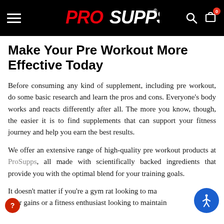ProSupps navigation bar with logo, search, and cart
Make Your Pre Workout More Effective Today
Before consuming any kind of supplement, including pre workout, do some basic research and learn the pros and cons. Everyone's body works and reacts differently after all. The more you know, though, the easier it is to find supplements that can support your fitness journey and help you earn the best results.
We offer an extensive range of high-quality pre workout products at ProSupps, all made with scientifically backed ingredients that provide you with the optimal blend for your training goals.
It doesn't matter if you're a gym rat looking to make your gains or a fitness enthusiast looking to maintain